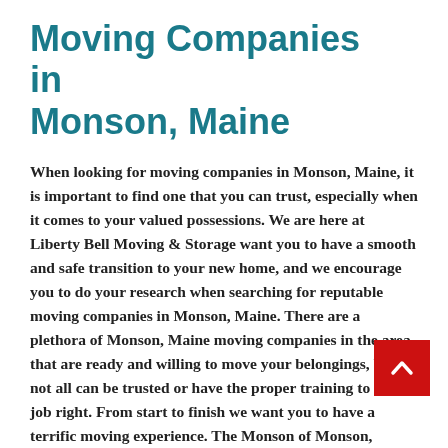Moving Companies in Monson, Maine
When looking for moving companies in Monson, Maine, it is important to find one that you can trust, especially when it comes to your valued possessions. We are here at Liberty Bell Moving & Storage want you to have a smooth and safe transition to your new home, and we encourage you to do your research when searching for reputable moving companies in Monson, Maine. There are a plethora of Monson, Maine moving companies in the area that are ready and willing to move your belongings, but not all can be trusted or have the proper training to do the job right. From start to finish we want you to have a terrific moving experience. The Monson of Monson, Maine has a long history, take a minute to read up Monson, Maine. The stress of moving can be a nerve racking, and choosing from local Monson, Maine moving companies can be a long process. Liberty Bell Moving & Storage is among some of the best moving companies, Monson, Maine has to offer. If you are looking for local moving companies in Monson,